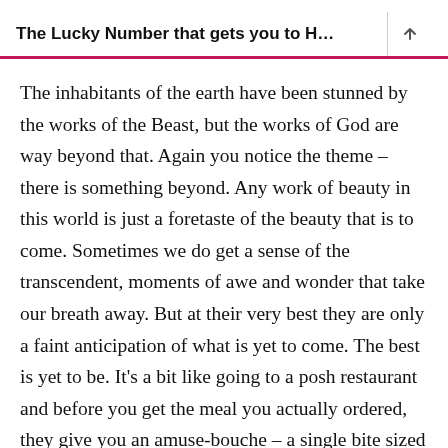The Lucky Number that gets you to H...
The inhabitants of the earth have been stunned by the works of the Beast, but the works of God are way beyond that. Again you notice the theme – there is something beyond. Any work of beauty in this world is just a foretaste of the beauty that is to come. Sometimes we do get a sense of the transcendent, moments of awe and wonder that take our breath away. But at their very best they are only a faint anticipation of what is yet to come. The best is yet to be. It's a bit like going to a posh restaurant and before you get the meal you actually ordered, they give you an amuse-bouche – a single bite sized appetiser. Its not something that you order, its just given at the